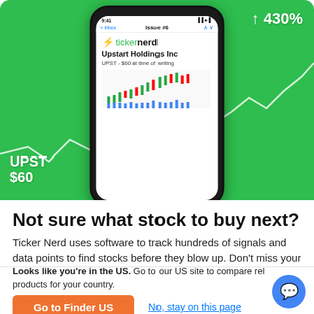[Figure (screenshot): Mobile phone mockup showing Ticker Nerd app newsletter with Upstart Holdings Inc (UPST $60) stock recommendation on a green background with 430% gain indicator and stock chart]
Not sure what stock to buy next?
Ticker Nerd uses software to track hundreds of signals and data points to find stocks before they blow up. Don't miss your next opportunity.
Looks like you're in the US. Go to our US site to compare relevant products for your country.
Go to Finder US
No, stay on this page